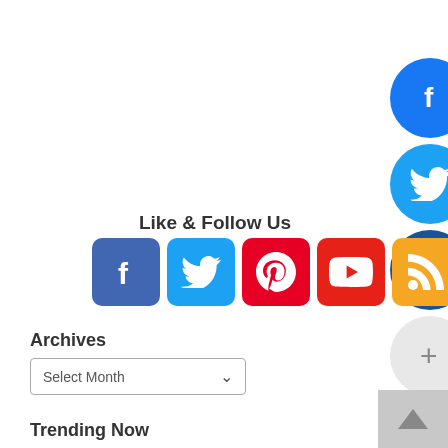[Figure (infographic): Social media sidebar with circular buttons: Facebook (blue), Twitter (light blue), LinkedIn (dark blue), and a plus button (gray)]
Like & Follow Us
[Figure (infographic): Row of 5 social media square icon buttons: Facebook (blue), Twitter (light blue), Pinterest (red), YouTube (red), RSS (orange)]
Archives
Select Month
Trending Now